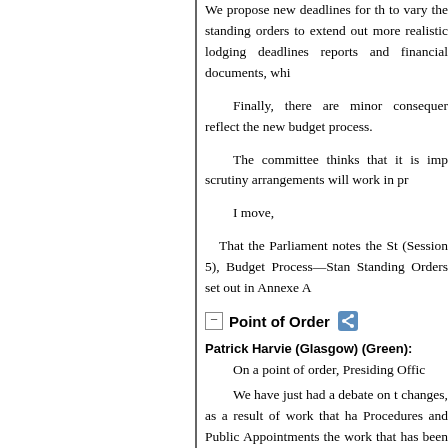We propose new deadlines for the to vary the standing orders to extend out more realistic lodging deadlines reports and financial documents, whi
Finally, there are minor consequen reflect the new budget process.
The committee thinks that it is imp scrutiny arrangements will work in pr
I move,
That the Parliament notes the St (Session 5), Budget Process—Stan Standing Orders set out in Annexe A
Point of Order
Patrick Harvie (Glasgow) (Green): On a point of order, Presiding Offic
We have just had a debate on t changes, as a result of work that ha Procedures and Public Appointments the work that has been done. I have which we are about to be asked to ag
However, the changes raise an iss